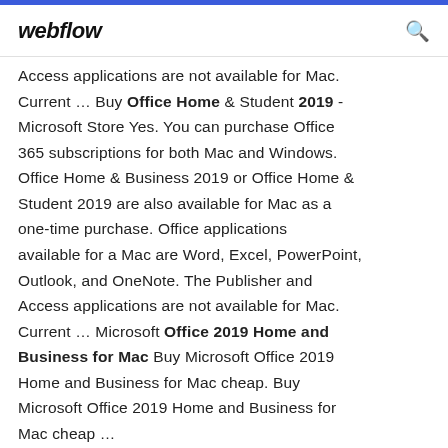webflow
Access applications are not available for Mac. Current … Buy Office Home & Student 2019 - Microsoft Store Yes. You can purchase Office 365 subscriptions for both Mac and Windows. Office Home & Business 2019 or Office Home & Student 2019 are also available for Mac as a one-time purchase. Office applications available for a Mac are Word, Excel, PowerPoint, Outlook, and OneNote. The Publisher and Access applications are not available for Mac. Current … Microsoft Office 2019 Home and Business for Mac Buy Microsoft Office 2019 Home and Business for Mac cheap. Buy Microsoft Office 2019 Home and Business for Mac cheap …